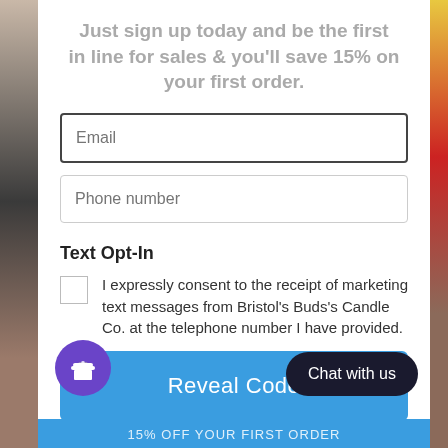Just sign up today and be the first in line for sales & you'll save 15% on your first order.
[Figure (screenshot): Email input field with dark border]
[Figure (screenshot): Phone number input field with light border]
Text Opt-In
I expressly consent to the receipt of marketing text messages from Bristol's Buds's Candle Co. at the telephone number I have provided.
[Figure (screenshot): Reveal Code blue button]
...leting this form you are signing u...
15% OFF YOUR FIRST ORDER